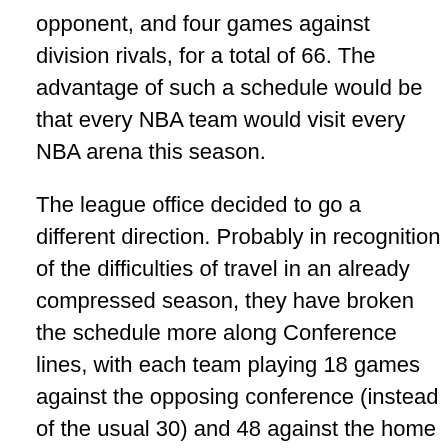opponent, and four games against division rivals, for a total of 66. The advantage of such a schedule would be that every NBA team would visit every NBA arena this season.
The league office decided to go a different direction. Probably in recognition of the difficulties of travel in an already compressed season, they have broken the schedule more along Conference lines, with each team playing 18 games against the opposing conference (instead of the usual 30) and 48 against the home conference (losing just four games from the standard 52). So the majority of the missed games will come against opponents from the other conference.
The impact of this is most easily understood from the standpoint of a season ticket holder. If you have